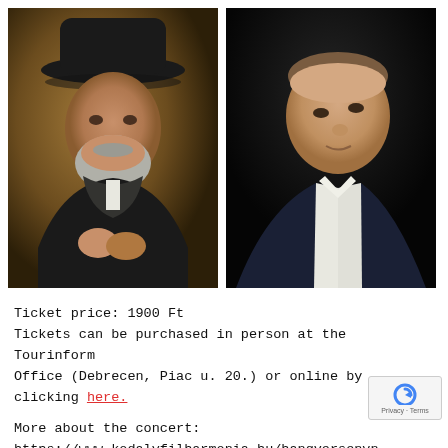[Figure (photo): Two side-by-side portrait photos: left photo shows a bearded man wearing a black hat and dark coat with scarf against a warm brown/golden background; right photo shows a clean-shaven man in a dark suit jacket and white shirt against a black background.]
Ticket price: 1900 Ft
Tickets can be purchased in person at the Tourinform Office (Debrecen, Piac u. 20.) or online by clicking here.
More about the concert:
https://www.kodalyfilharmonia.hu/hangversenyn...